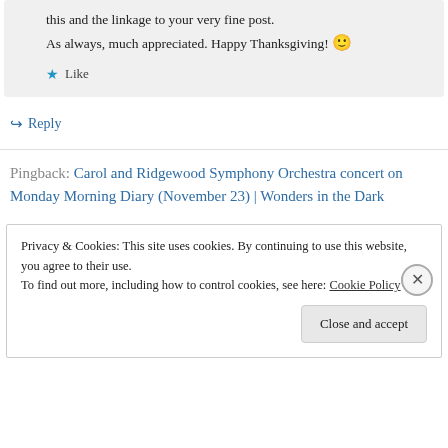this and the linkage to your very fine post. As always, much appreciated. Happy Thanksgiving! 🙂
★ Like
↪ Reply
Pingback: Carol and Ridgewood Symphony Orchestra concert on Monday Morning Diary (November 23) | Wonders in the Dark
Privacy & Cookies: This site uses cookies. By continuing to use this website, you agree to their use. To find out more, including how to control cookies, see here: Cookie Policy
Close and accept